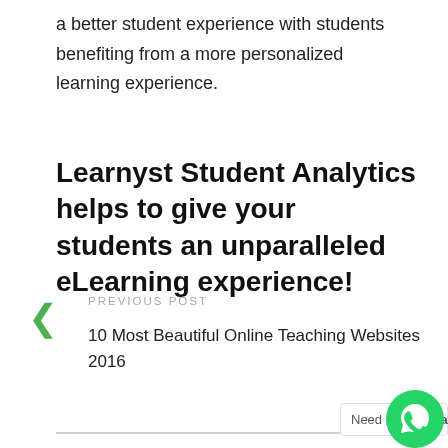a better student experience with students benefiting from a more personalized learning experience.
Learnyst Student Analytics helps to give your students an unparalleled eLearning experience!
PREVIOUS POST
10 Most Beautiful Online Teaching Websites 2016
Need Help? Chat with us